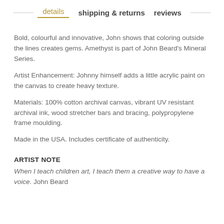details   shipping & returns   reviews
Bold, colourful and innovative, John shows that coloring outside the lines creates gems. Amethyst is part of John Beard's Mineral Series.
Artist Enhancement: Johnny himself adds a little acrylic paint on the canvas to create heavy texture.
Materials: 100% cotton archival canvas, vibrant UV resistant archival ink, wood stretcher bars and bracing, polypropylene frame moulding.
Made in the USA. Includes certificate of authenticity.
ARTIST NOTE
When I teach children art, I teach them a creative way to have a voice. John Beard